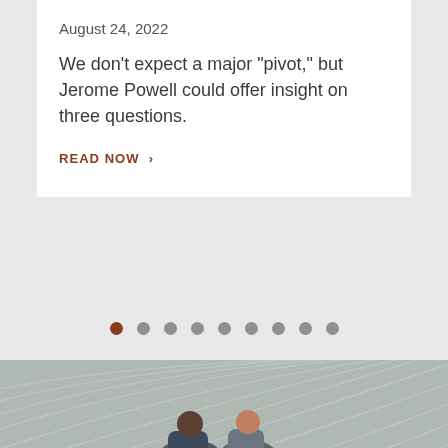August 24, 2022
We don’t expect a major “pivot,” but Jerome Powell could offer insight on three questions.
READ NOW >
[Figure (other): Carousel pagination dots, first dot active (brown/rust color), remaining 8 dots grey]
[Figure (photo): Photo of two people (a man and a woman) standing together in front of a decorative wall with concentric arc/circular line patterns. The wall has a light grey-white textured pattern of overlapping curved lines. The people are partially visible at the bottom of the image.]